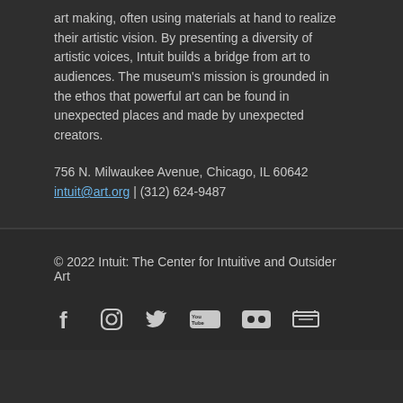art making, often using materials at hand to realize their artistic vision. By presenting a diversity of artistic voices, Intuit builds a bridge from art to audiences. The museum's mission is grounded in the ethos that powerful art can be found in unexpected places and made by unexpected creators.
756 N. Milwaukee Avenue, Chicago, IL 60642
intuit@art.org | (312) 624-9487
© 2022 Intuit: The Center for Intuitive and Outsider Art
[Figure (other): Social media icons: Facebook, Instagram, Twitter, YouTube, Flickr, and one more icon]